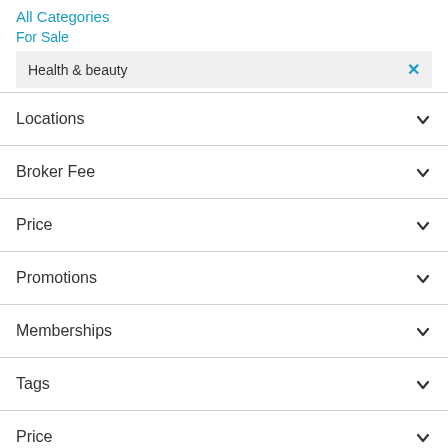All Categories
For Sale
Health & beauty
Locations
Broker Fee
Price
Promotions
Memberships
Tags
Price
Keyword